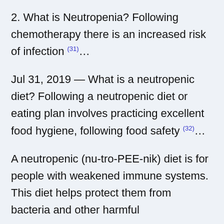2. What is Neutropenia? Following chemotherapy there is an increased risk of infection (31)...
Jul 31, 2019 — What is a neutropenic diet? Following a neutropenic diet or eating plan involves practicing excellent food hygiene, following food safety (32)...
A neutropenic (nu-tro-PEE-nik) diet is for people with weakened immune systems. This diet helps protect them from bacteria and other harmful